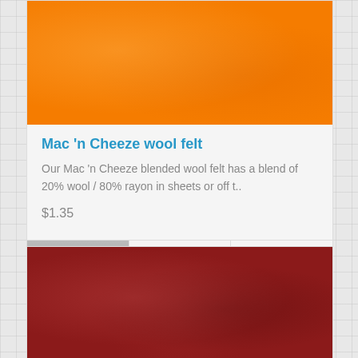[Figure (photo): Orange wool felt fabric texture — Mac 'n Cheeze color]
Mac 'n Cheeze wool felt
Our Mac 'n Cheeze blended wool felt has a blend of 20% wool / 80% rayon in sheets or off t..
$1.35
[Figure (photo): Dark red/burgundy wool felt fabric texture]